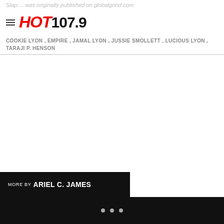Slap:... was originally published on globalgrind.com
[Figure (logo): Hot 107.9 radio station logo with hamburger menu icon]
COOKIE LYON , EMPIRE , JAMAL LYON , JUSSIE SMOLLETT , LUCIOUS LYON , TARAJI P. HENSON
[Figure (photo): Large white/blank image area in the center of the page]
MORE BY ARIEL C. JAMES
• • •